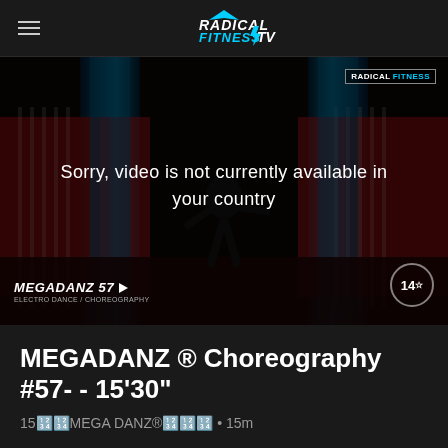Radical Fitness TV
[Figure (screenshot): Video player showing a dark dance stage scene with a dancer. Overlay text reads 'Sorry, video is not currently available in your country'. Bottom left shows 'MEGADANZ 57 ELECTRO DANCE / CHOREOGRAPHY' label. Bottom right shows circle badge '14'. Watermark top right reads 'RADICAL FITNESS'.]
MEGADANZ ® Choreography #57- - 15'30"
15🔢🔢MEGA DANZ®🔢🔢🔢 • 15m